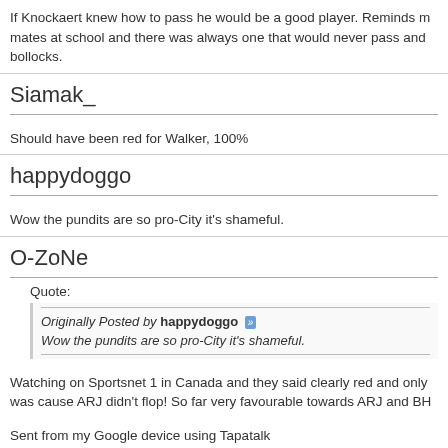If Knockaert knew how to pass he would be a good player. Reminds me of my mates at school and there was always one that would never pass and bollocks.
Siamak_
Should have been red for Walker, 100%
happydoggo
Wow the pundits are so pro-City it's shameful.
O-ZoNe
Quote:
Originally Posted by happydoggo
Wow the pundits are so pro-City it's shameful.
Watching on Sportsnet 1 in Canada and they said clearly red and only reason it was cause ARJ didn't flop! So far very favourable towards ARJ and BH
Sent from my Google device using Tapatalk